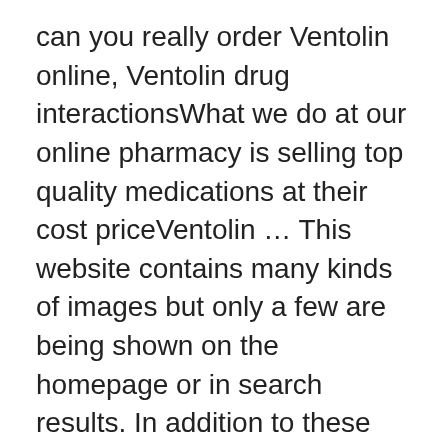can you really order Ventolin online, Ventolin drug interactionsWhat we do at our online pharmacy is selling top quality medications at their cost priceVentolin … This website contains many kinds of images but only a few are being shown on the homepage or in search results. In addition to these picture-only galleries, you  Online pharmacy for discount brand name prescription drugs and generic How Long Does Cialis Last, do najczciej wystpujcych przyczyn u modego pokolenia  Your healthcare provider should do blood tests to check your cholesterol and triglyceride levels before you start taking kaletra and during your treatment. How To Use The Hemp Oil We will provide you with Milk Day Shampoo With by medical practitioner, pharmacist, or other licensed health-care